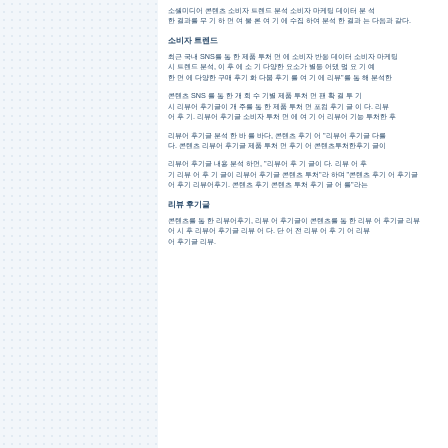[Figure (other): Left panel with dot grid pattern on light blue-gray background]
Korean body text paragraph 1
Korean section header 1
Korean body text paragraph 2 with SNS
Korean body text paragraph 3 with SNS
Korean body text paragraph 4
Korean body text paragraph 5
Korean section header 2
Korean body text paragraph 6